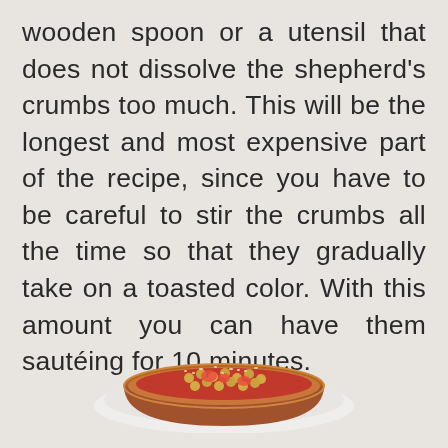wooden spoon or a utensil that does not dissolve the shepherd's crumbs too much. This will be the longest and most expensive part of the recipe, since you have to be careful to stir the crumbs all the time so that they gradually take on a toasted color. With this amount you can have them sautéing for 10 minutes.
[Figure (photo): A clay bowl filled with a tomato and chickpea dish, garnished with coarse breadcrumbs, served on a white plate]